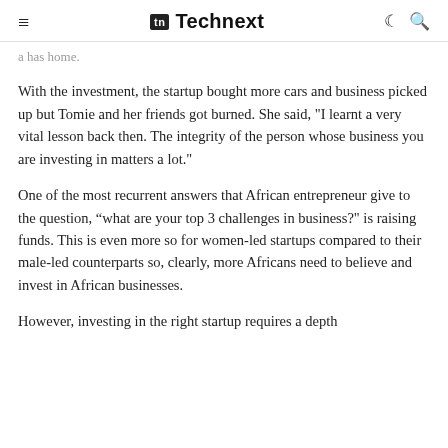Technext
a has home.
With the investment, the startup bought more cars and business picked up but Tomie and her friends got burned. She said, "I learnt a very vital lesson back then. The integrity of the person whose business you are investing in matters a lot."
One of the most recurrent answers that African entrepreneur give to the question, “what are your top 3 challenges in business?” is raising funds. This is even more so for women-led startups compared to their male-led counterparts so, clearly, more Africans need to believe and invest in African businesses.
However, investing in the right startup requires a depth